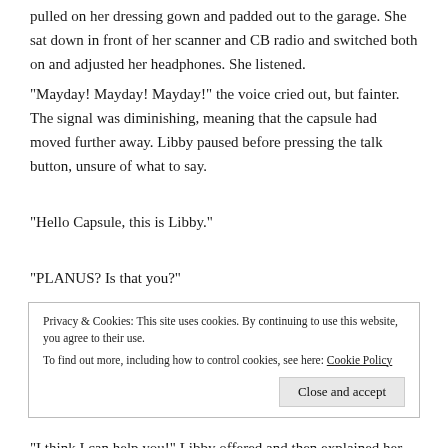pulled on her dressing gown and padded out to the garage. She sat down in front of her scanner and CB radio and switched both on and adjusted her headphones. She listened.
“Mayday! Mayday! Mayday!” the voice cried out, but fainter. The signal was diminishing, meaning that the capsule had moved further away. Libby paused before pressing the talk button, unsure of what to say.
“Hello Capsule, this is Libby.”
“PLANUS? Is that you?”
Privacy & Cookies: This site uses cookies. By continuing to use this website, you agree to their use.
To find out more, including how to control cookies, see here: Cookie Policy
“I think I can help you!” Libby offered and then explained her